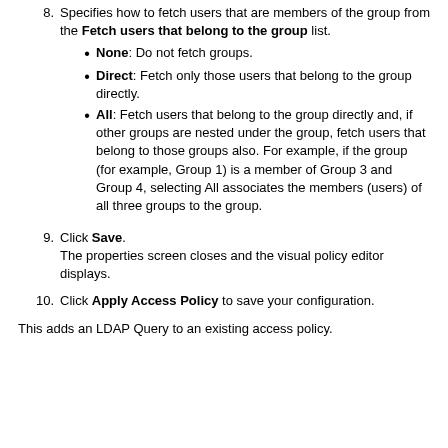8. Specifies how to fetch users that are members of the group from the Fetch users that belong to the group list.
None: Do not fetch groups.
Direct: Fetch only those users that belong to the group directly.
All: Fetch users that belong to the group directly and, if other groups are nested under the group, fetch users that belong to those groups also. For example, if the group (for example, Group 1) is a member of Group 3 and Group 4, selecting All associates the members (users) of all three groups to the group.
9. Click Save. The properties screen closes and the visual policy editor displays.
10. Click Apply Access Policy to save your configuration.
This adds an LDAP Query to an existing access policy.